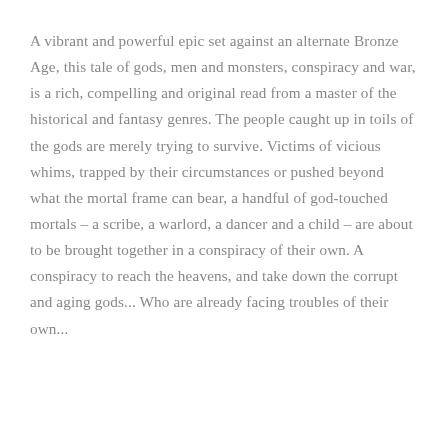A vibrant and powerful epic set against an alternate Bronze Age, this tale of gods, men and monsters, conspiracy and war, is a rich, compelling and original read from a master of the historical and fantasy genres. The people caught up in toils of the gods are merely trying to survive. Victims of vicious whims, trapped by their circumstances or pushed beyond what the mortal frame can bear, a handful of god-touched mortals – a scribe, a warlord, a dancer and a child – are about to be brought together in a conspiracy of their own. A conspiracy to reach the heavens, and take down the corrupt and aging gods... Who are already facing troubles of their own...